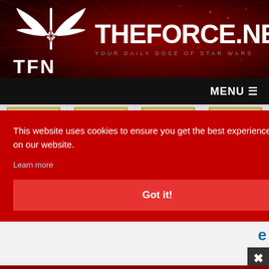[Figure (logo): TheForce.net website header with Jedi Order symbol, site name THEFORCE.NET, tagline YOUR DAILY DOSE OF STAR WARS, and TFN acronym on dark red background with ray burst pattern]
MENU ☰
[Figure (screenshot): Four Star Wars branded cards partially visible in a horizontal strip]
This website uses cookies to ensure you get the best experience on our website.
Learn more
Got it!
e
[Figure (other): Close/dismiss button with X icon in dark gray square at bottom right]